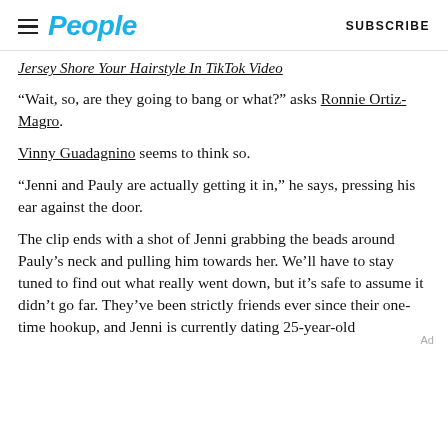People | SUBSCRIBE
Jersey Shore Your Hairstyle In TikTok Video
“Wait, so, are they going to bang or what?” asks Ronnie Ortiz-Magro.
Vinny Guadagnino seems to think so.
“Jenni and Pauly are actually getting it in,” he says, pressing his ear against the door.
The clip ends with a shot of Jenni grabbing the beads around Pauly’s neck and pulling him towards her. We’ll have to stay tuned to find out what really went down, but it’s safe to assume it didn’t go far. They’ve been strictly friends ever since their one-time hookup, and Jenni is currently dating 25-year-old